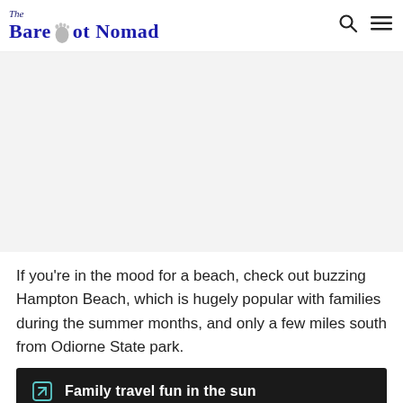The Barefoot Nomad
[Figure (photo): Large image placeholder with light gray background, likely a beach or travel photo]
If you're in the mood for a beach, check out buzzing Hampton Beach, which is hugely popular with families during the summer months, and only a few miles south from Odiorne State park.
Family travel fun in the sun